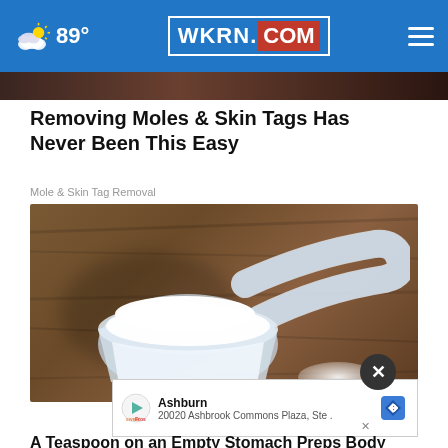89° WKRN.COM
[Figure (photo): Dark strip showing top of a photo (partial face/person)]
Removing Moles & Skin Tags Has Never Been This Easy
Mole & Skin Tag Removal
[Figure (photo): A plastic measuring scoop filled with white powder on a wooden surface]
[Figure (screenshot): Ad overlay: Ashburn - 20020 Ashbrook Commons Plaza, Ste. with SweetFrog logo and navigation arrow icon]
A Teaspoon on an Empty Stomach Preps Body